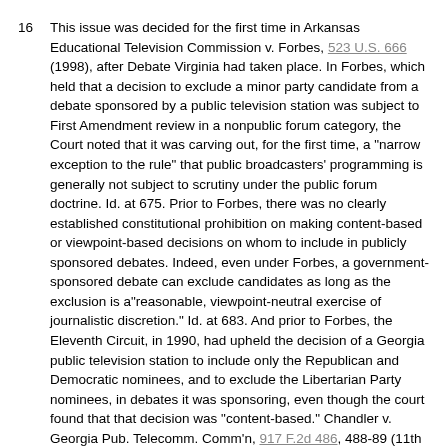16 This issue was decided for the first time in Arkansas Educational Television Commission v. Forbes, 523 U.S. 666 (1998), after Debate Virginia had taken place. In Forbes, which held that a decision to exclude a minor party candidate from a debate sponsored by a public television station was subject to First Amendment review in a nonpublic forum category, the Court noted that it was carving out, for the first time, a "narrow exception to the rule" that public broadcasters' programming is generally not subject to scrutiny under the public forum doctrine. Id. at 675. Prior to Forbes, there was no clearly established constitutional prohibition on making content-based or viewpoint-based decisions on whom to include in publicly sponsored debates. Indeed, even under Forbes, a government-sponsored debate can exclude candidates as long as the exclusion is a"reasonable, viewpoint-neutral exercise of journalistic discretion." Id. at 683. And prior to Forbes, the Eleventh Circuit, in 1990, had upheld the decision of a Georgia public television station to include only the Republican and Democratic nominees, and to exclude the Libertarian Party nominees, in debates it was sponsoring, even though the court found that that decision was "content-based." Chandler v. Georgia Pub. Telecomm. Comm'n, 917 F.2d 486, 488-89 (11th Cir. 1990).